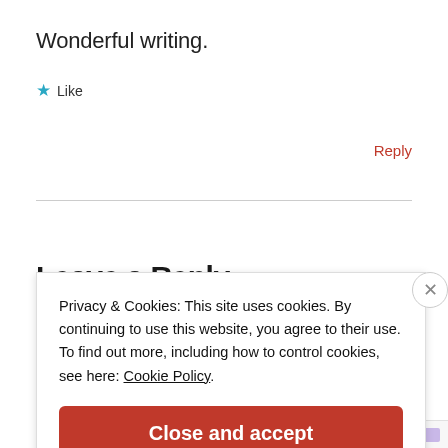Wonderful writing.
★ Like
Reply
Leave a Reply
Privacy & Cookies: This site uses cookies. By continuing to use this website, you agree to their use. To find out more, including how to control cookies, see here: Cookie Policy.
Close and accept